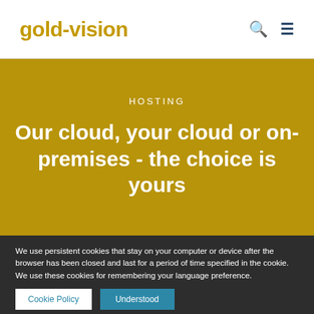gold-vision
HOSTING
Our cloud, your cloud or on-premises - the choice is yours
We use persistent cookies that stay on your computer or device after the browser has been closed and last for a period of time specified in the cookie.
We use these cookies for remembering your language preference.
Cookie Policy  Understood